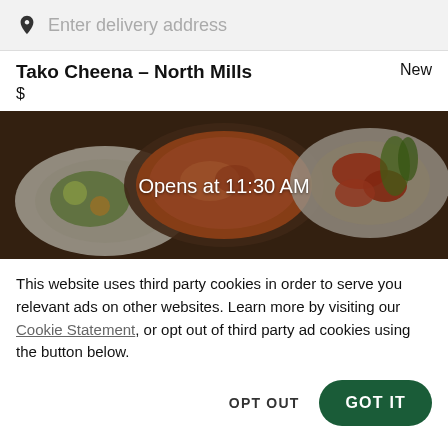Enter delivery address
Tako Cheena – North Mills
$
[Figure (photo): Overhead view of Indian/Asian food dishes including a curry bowl and salads, with overlay text 'Opens at 11:30 AM']
This website uses third party cookies in order to serve you relevant ads on other websites. Learn more by visiting our Cookie Statement, or opt out of third party ad cookies using the button below.
OPT OUT
GOT IT